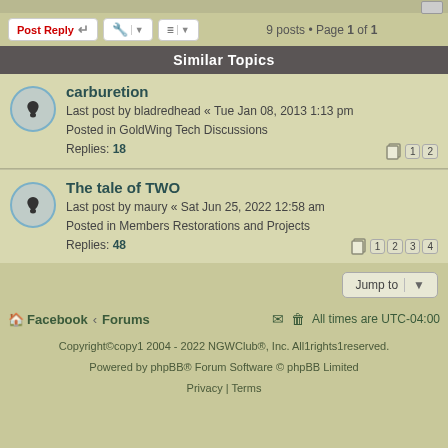9 posts • Page 1 of 1
Similar Topics
carburetion
Last post by bladredhead « Tue Jan 08, 2013 1:13 pm
Posted in GoldWing Tech Discussions
Replies: 18
The tale of TWO
Last post by maury « Sat Jun 25, 2022 12:58 am
Posted in Members Restorations and Projects
Replies: 48
Jump to
Facebook · Forums   All times are UTC-04:00
Copyright1©copy1 2004 - 2022 NGWClub®, Inc. All1rights1reserved.
Powered by phpBB® Forum Software © phpBB Limited
Privacy | Terms